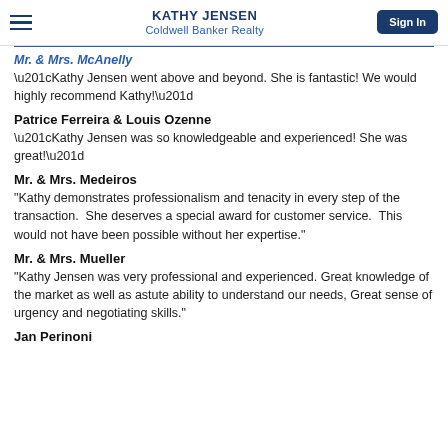KATHY JENSEN
Coldwell Banker Realty
Mr. & Mrs. McAnelly
“Kathy Jensen went above and beyond. She is fantastic! We would highly recommend Kathy!”
Patrice Ferreira & Louis Ozenne
“Kathy Jensen was so knowledgeable and experienced! She was great!”
Mr. & Mrs. Medeiros
"Kathy demonstrates professionalism and tenacity in every step of the transaction.  She deserves a special award for customer service.  This would not have been possible without her expertise."
Mr. & Mrs. Mueller
"Kathy Jensen was very professional and experienced. Great knowledge of the market as well as astute ability to understand our needs, Great sense of urgency and negotiating skills."
Jan Perinoni